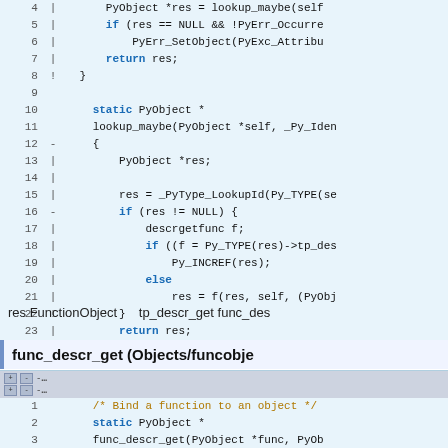[Figure (screenshot): Code viewer showing C function lines 4-24 with line numbers and collapse markers, syntax highlighted, light blue background]
res FunctionObject         tp_descr_get func_des
func_descr_get (Objects/funcobje...
[Figure (screenshot): Code viewer showing C function func_descr_get lines 1-8 with toolbar, syntax highlighted, light blue background]